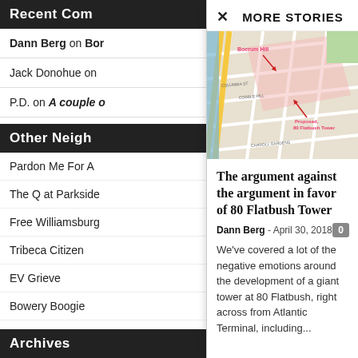Recent Com
Dann Berg on Bor
Jack Donohue on
P.D. on A couple o
Other Neigh
Pardon Me For A
The Q at Parkside
Free Williamsburg
Tribeca Citizen
EV Grieve
Bowery Boogie
Archives
MORE STORIES
[Figure (map): Street map showing Boerum Hill and Proposed 80 Flatbush Tower location with red arrows pointing to locations]
The argument against the argument in favor of 80 Flatbush Tower
Dann Berg - April 30, 2018
We've covered a lot of the negative emotions around the development of a giant tower at 80 Flatbush, right across from Atlantic Terminal, including...